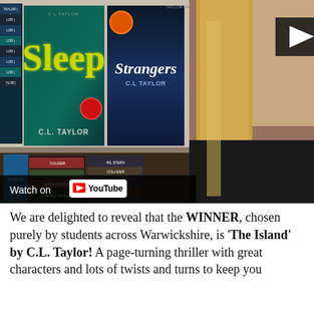[Figure (screenshot): YouTube video thumbnail showing a bookshelf with C.L. Taylor books including 'Sleep' and 'Strangers', and a woman with long blonde hair on the right side. A 'Watch on YouTube' bar appears at the bottom of the video frame.]
We are delighted to reveal that the WINNER, chosen purely by students across Warwickshire, is 'The Island' by C.L. Taylor! A page-turning thriller with great characters and lots of twists and turns to keep you